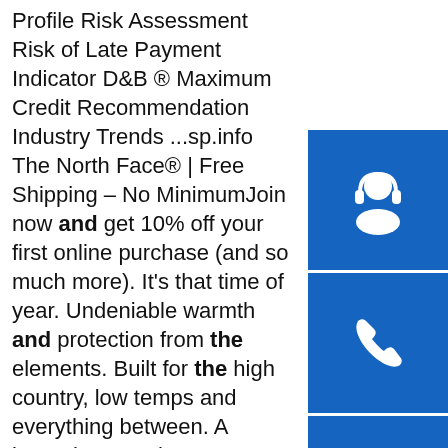Profile Risk Assessment Risk of Late Payment Indicator D&B ® Maximum Credit Recommendation Industry Trends ...sp.info The North Face® | Free Shipping – No MinimumJoin now and get 10% off your first online purchase (and so much more). It's that time of year. Undeniable warmth and protection from the elements. Built for the high country, low temps and everything between. A legend's next chapter. 100% recycled body fabric and boot.sp.info Online Essay Help - Get your assignment help services from ...Get your assignment services from professionals. All our academic papers written from scratch. All our clients are privileged to have all their academic papers written from scratch.sp.info IDM Members Meeting Dates 2021 | Institute Of Infectious ...Feb 10, 2021 · IDM Members' meetings for 2021 will be held from 12h45 to 14h30.A zoom link or venue to be sent out before the time.. Wednesday 10 February; Wednesday 5 May; Wednesday 4 August; Wednesday 3 November
[Figure (illustration): Three blue square icon buttons on the right sidebar: a customer support / headset icon, a phone/call icon, and a Skype icon]